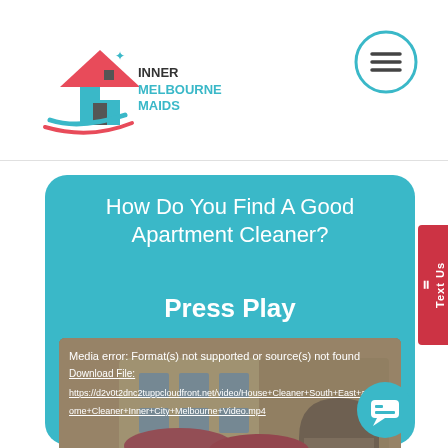[Figure (logo): Inner Melbourne Maids logo with house icon and teal/red branding]
[Figure (illustration): Hamburger menu icon inside a circle]
How Do You Find A Good Apartment Cleaner? Press Play
[Figure (screenshot): Video player showing cartoon illustration of people at outdoor cafe. Media error overlay displayed: 'Media error: Format(s) not supported or source(s) not found'. Download File link with URL https://d2v0t2dnc2tuppcloudfront.net/video/House+Cleaner+South+East+and+Home+Cleaner+Inner+City+Melbourne+Video.mp4]
[Figure (other): Red side tab with text 'Text Us']
[Figure (other): Teal chat bubble widget in bottom right corner]